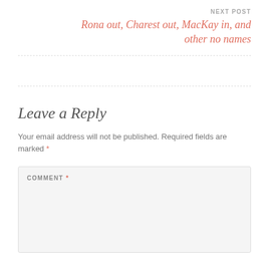NEXT POST
Rona out, Charest out, MacKay in, and other no names
Leave a Reply
Your email address will not be published. Required fields are marked *
COMMENT *